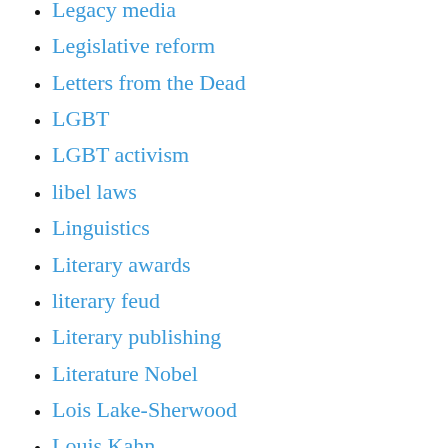Legacy media
Legislative reform
Letters from the Dead
LGBT
LGBT activism
libel laws
Linguistics
Literary awards
literary feud
Literary publishing
Literature Nobel
Lois Lake-Sherwood
Louis Kahn
M.F. Husain
Major Lazer
Major Sandeep Unnikrishnan
Malcolm X